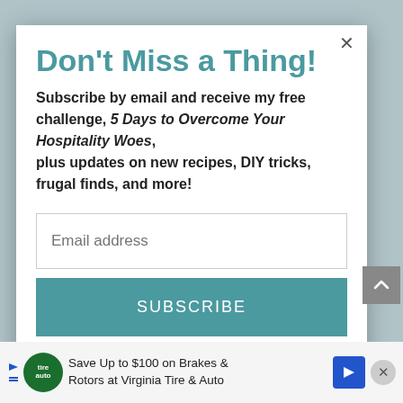Don't Miss a Thing!
Subscribe by email and receive my free challenge, 5 Days to Overcome Your Hospitality Woes, plus updates on new recipes, DIY tricks, frugal finds, and more!
Email address
SUBSCRIBE
Save Up to $100 on Brakes & Rotors at Virginia Tire & Auto